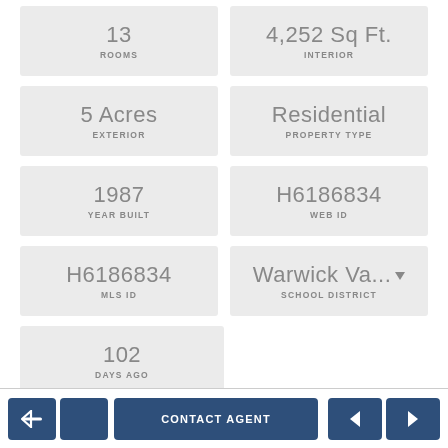13 ROOMS
4,252 Sq Ft. INTERIOR
5 Acres EXTERIOR
Residential PROPERTY TYPE
1987 YEAR BUILT
H6186834 WEB ID
H6186834 MLS ID
Warwick Va... SCHOOL DISTRICT
102 DAYS AGO
CONTACT AGENT